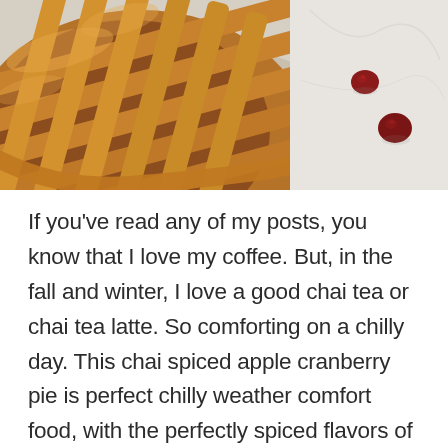[Figure (photo): Overhead close-up photo of a lattice-top apple cranberry pie on a beige linen cloth, with two fresh cranberries on a white marble surface to the right.]
If you've read any of my posts, you know that I love my coffee. But, in the fall and winter, I love a good chai tea or chai tea latte. So comforting on a chilly day. This chai spiced apple cranberry pie is perfect chilly weather comfort food, with the perfectly spiced flavors of chai and orange, with sweet and tart apples, and a tart pop